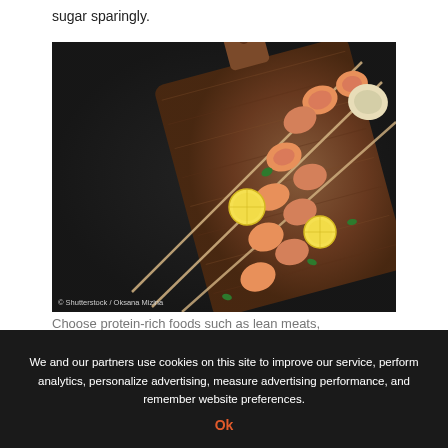sugar sparingly.
[Figure (photo): Overhead photo of grilled shrimp skewers with lemon slices on a wooden cutting board against a dark background. Photo credit: © Shutterstock / Oksana Mizina]
© Shutterstock / Oksana Mizina
We and our partners use cookies on this site to improve our service, perform analytics, personalize advertising, measure advertising performance, and remember website preferences.
Ok